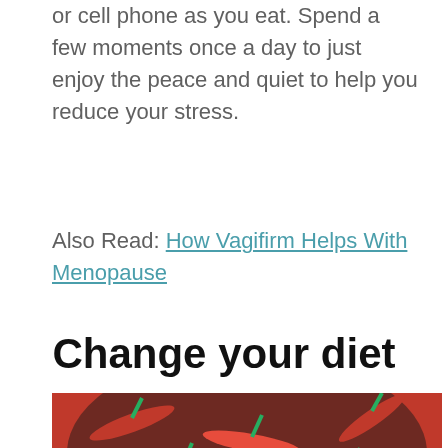or cell phone as you eat. Spend a few moments once a day to just enjoy the peace and quiet to help you reduce your stress.
Also Read: How Vagifirm Helps With Menopause
Change your diet
[Figure (photo): Photo of red chili peppers and tomatoes with a dark circular object (pan or bowl) visible, shot from above]